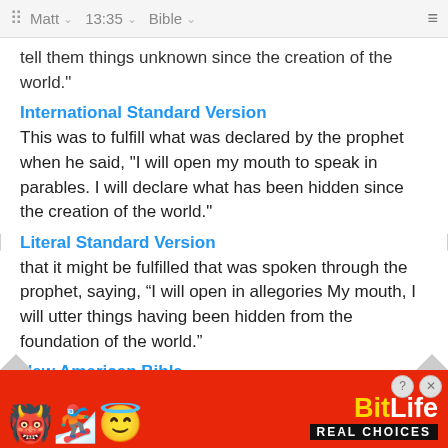Matt  13:35  Bible
tell them things unknown since the creation of the world."
International Standard Version
This was to fulfill what was declared by the prophet when he said, "I will open my mouth to speak in parables. I will declare what has been hidden since the creation of the world."
Literal Standard Version
that it might be fulfilled that was spoken through the prophet, saying, “I will open in allegories My mouth, I will utter things having been hidden from the foundation of the world.”
New American Bible
to fulfill what had been said through the prophet: "I will op... what...
[Figure (screenshot): BitLife advertisement banner with emoji characters (devil, woman with arms raised, angel face) and BitLife Real Choices logo on red background]